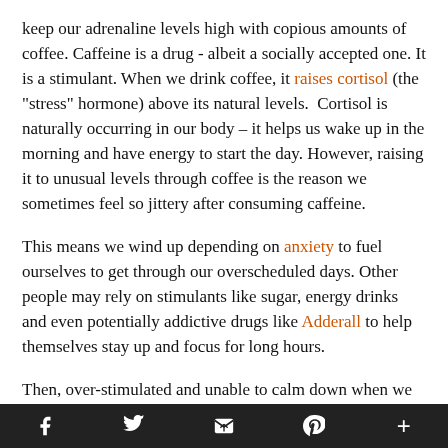keep our adrenaline levels high with copious amounts of coffee. Caffeine is a drug - albeit a socially accepted one. It is a stimulant. When we drink coffee, it raises cortisol (the "stress" hormone) above its natural levels. Cortisol is naturally occurring in our body – it helps us wake up in the morning and have energy to start the day. However, raising it to unusual levels through coffee is the reason we sometimes feel so jittery after consuming caffeine.
This means we wind up depending on anxiety to fuel ourselves to get through our overscheduled days. Other people may rely on stimulants like sugar, energy drinks and even potentially addictive drugs like Adderall to help themselves stay up and focus for long hours.
Then, over-stimulated and unable to calm down when we
Social share bar: Facebook, Twitter, Email, Pinterest, More